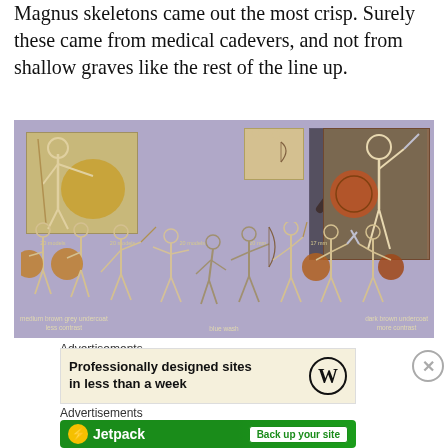Magnus skeletons came out the most crisp. Surely these came from medical cadevers, and not from shallow graves like the rest of the line up.
[Figure (photo): Photo of multiple painted skeleton miniature figures arranged for comparison, showing different painting styles. Includes inset images of individual painted miniatures and reference art labeled 'War of Kytiss'. Captions below figures read: 'medium brown grey undercoat less contrast', 'blue wash', and 'dark brown undercoat more contrast'.]
Advertisements
[Figure (other): WordPress advertisement banner: 'Professionally designed sites in less than a week' with WordPress logo]
Advertisements
[Figure (other): Jetpack advertisement banner: Jetpack logo with 'Back up your site' button on green background]